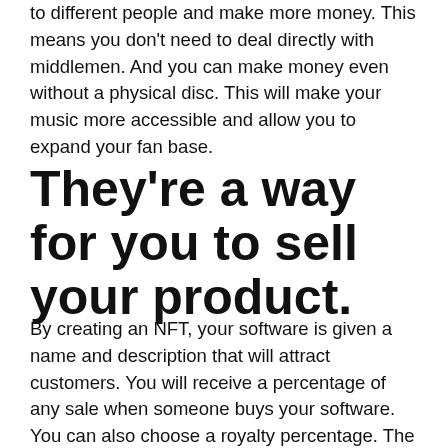to different people and make more money. This means you don't need to deal directly with middlemen. And you can make money even without a physical disc. This will make your music more accessible and allow you to expand your fan base.
They're a way for you to sell your product.
By creating an NFT, your software is given a name and description that will attract customers. You will receive a percentage of any sale when someone buys your software. You can also choose a royalty percentage. The default is 10 per cent. It may not be worthwhile to set a higher royalty.